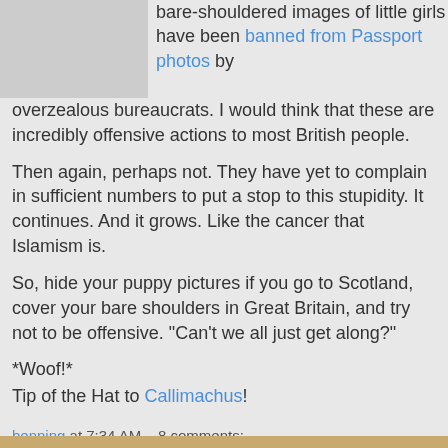[Figure (photo): Photo of a person, cropped to show upper body/shoulders, partially visible at top left.]
bare-shouldered images of little girls have been banned from Passport photos by overzealous bureaucrats. I would think that these are incredibly offensive actions to most British people.
Then again, perhaps not. They have yet to complain in sufficient numbers to put a stop to this stupidity. It continues. And it grows. Like the cancer that Islamism is.
So, hide your puppy pictures if you go to Scotland, cover your bare shoulders in Great Britain, and try not to be offensive. "Can't we all just get along?"
*Woof!*
Tip of the Hat to Callimachus!
benning at 7:34 AM   8 comments:
Share